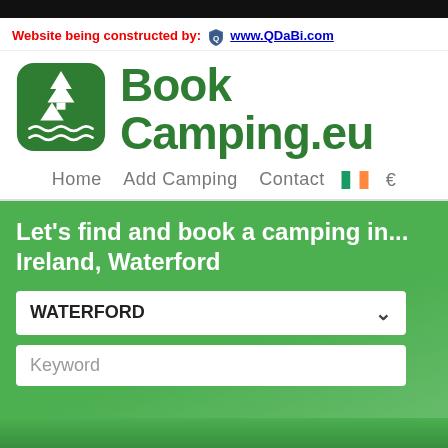Website being constructed by: www.QDaBi.com
[Figure (logo): BookCamping.eu logo: green rounded square with white pine tree, tent and water waves icons]
BookCamping.eu
Home  Add Camping  Contact  €
Let's find and book a camping in... Ireland, Waterford
WATERFORD
Keyword